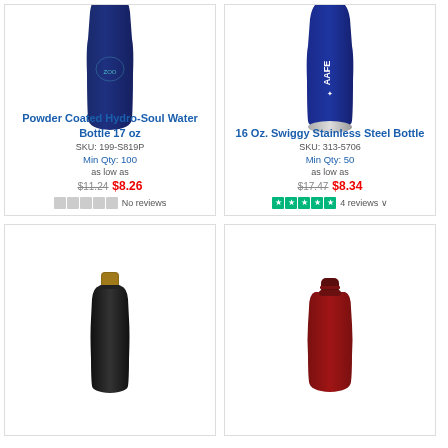[Figure (photo): Dark navy blue powder coated water bottle with zoo logo]
Powder Coated Hydro-Soul Water Bottle 17 oz
SKU: 199-S819P
Min Qty: 100
as low as $11.24  $8.26
No reviews
[Figure (photo): Blue stainless steel bottle with AAFE logo in white]
16 Oz. Swiggy Stainless Steel Bottle
SKU: 313-5706
Min Qty: 50
as low as $17.47  $8.34
4 reviews
[Figure (photo): Black bottle with cork/wooden top cap]
[Figure (photo): Dark red bottle with cap]